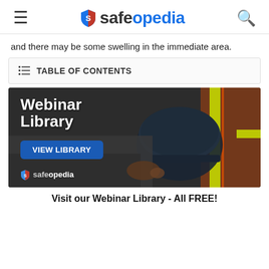safeopedia
and there may be some swelling in the immediate area.
TABLE OF CONTENTS
[Figure (photo): Safeopedia Webinar Library advertisement banner showing a construction worker holding a hard hat with safety vest, with text 'Webinar Library', a blue 'VIEW LIBRARY' button, and the Safeopedia logo.]
Visit our Webinar Library - All FREE!